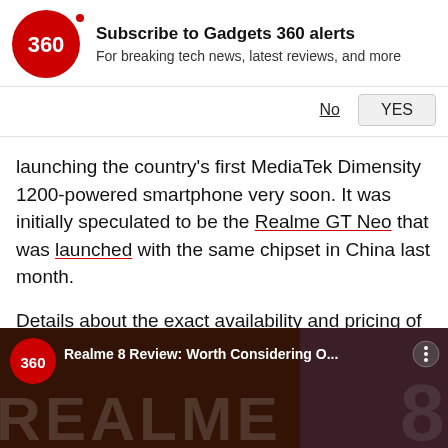[Figure (logo): Gadgets 360 red circular logo with '360' text and notification dot]
Subscribe to Gadgets 360 alerts
For breaking tech news, latest reviews, and more
No  YES
launching the country's first MediaTek Dimensity 1200-powered smartphone very soon. It was initially speculated to be the Realme GT Neo that was launched with the same chipset in China last month.
Details about the exact availability and pricing of the Dimensity 1200-powered Realme phone are yet to be revealed.
[Figure (screenshot): Gadgets 360 video thumbnail showing Realme 8 Review with phone image and REALME branding overlay]